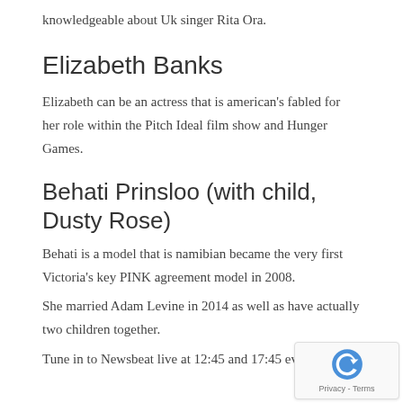knowledgeable about Uk singer Rita Ora.
Elizabeth Banks
Elizabeth can be an actress that is american's fabled for her role within the Pitch Ideal film show and Hunger Games.
Behati Prinsloo (with child, Dusty Rose)
Behati is a model that is namibian became the very first Victoria's key PINK agreement model in 2008.
She married Adam Levine in 2014 as well as have actually two children together.
Tune in to Newsbeat live at 12:45 and 17:45 every